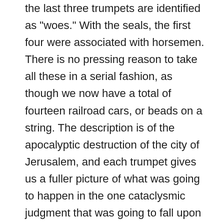the last three trumpets are identified as 'woes.' With the seals, the first four were associated with horsemen. There is no pressing reason to take all these in a serial fashion, as though we now have a total of fourteen railroad cars, or beads on a string. The description is of the apocalyptic destruction of the city of Jerusalem, and each trumpet gives us a fuller picture of what was going to happen in the one cataclysmic judgment that was going to fall upon that wretched city. The symbolic language here is of an exhaustive devastation, but the plain warning of Jesus indicates that these symbols are not overblown when we consider what was actually going to happen to the city and the surrounding territory of Judea.